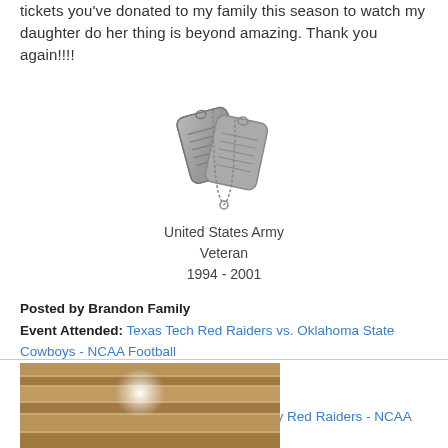tickets you've donated to my family this season to watch my daughter do her thing is beyond amazing. Thank you again!!!!
[Figure (illustration): Military dog tags icon - two metal dog tags on a chain arranged in a V shape]
United States Army
Veteran
1994 - 2001
Posted by Brandon Family
Event Attended: Texas Tech Red Raiders vs. Oklahoma State Cowboys - NCAA Football
Event Location: Lubbock, TX
Event Date: Nov 20th 2021
Tickets Donated By: Texas Tech University Red Raiders - NCAA
[Figure (photo): Partial photo of what appears to be a stadium interior with wooden/architectural beams visible]